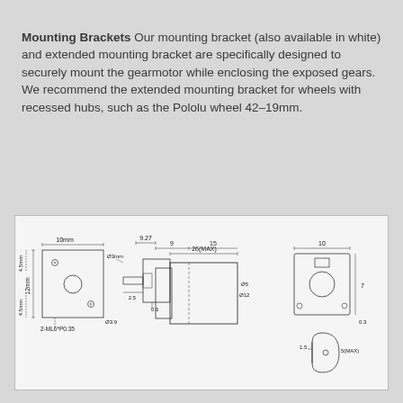Mounting Brackets Our mounting bracket (also available in white) and extended mounting bracket are specifically designed to securely mount the gearmotor while enclosing the exposed gears. We recommend the extended mounting bracket for wheels with recessed hubs, such as the Pololu wheel 42–19mm.
[Figure (engineering-diagram): Technical engineering drawing of a gearmotor with three views: front face view showing mounting holes (2-ML6*P0.35), side cross-section view with dimensions (10mm width, 12mm, 4.5mm, 4.5mm, Ø3, Ø3.9, 2.5, 0.6), main side profile view with dimensions (9.27, 9, 15, 26(MAX), Ø5, Ø12), rear face view (10, 7, 0.3), and shaft detail (1.5, 5(MAX)).]